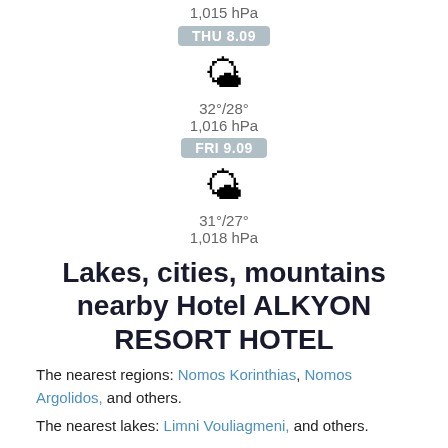1,015 hPa
THU 8.09
[Figure (illustration): Sun emoji icon]
32°/28°
1,016 hPa
FRI 9.09
[Figure (illustration): Sun emoji icon]
31°/27°
1,018 hPa
Lakes, cities, mountains nearby Hotel ALKYON RESORT HOTEL
The nearest regions: Nomos Korinthias, Nomos Argolidos, and others.
The nearest lakes: Limni Vouliagmeni, and others.
The nearest cities & villages: Korinthos, Loutraki, Kiato, Agioi Theodoroi, Zevgolateio, Nemea, Vrakhati, Velo, Lekhajo, Arkhaia Korinthos, Assos